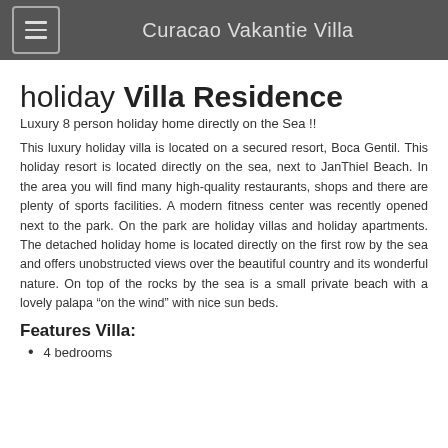Curacao Vakantie Villa
holiday Villa Residence
Luxury 8 person holiday home directly on the Sea !!
This luxury holiday villa is located on a secured resort, Boca Gentil. This holiday resort is located directly on the sea, next to JanThiel Beach. In the area you will find many high-quality restaurants, shops and there are plenty of sports facilities. A modern fitness center was recently opened next to the park. On the park are holiday villas and holiday apartments. The detached holiday home is located directly on the first row by the sea and offers unobstructed views over the beautiful country and its wonderful nature. On top of the rocks by the sea is a small private beach with a lovely palapa “on the wind” with nice sun beds.
Features Villa:
4 bedrooms